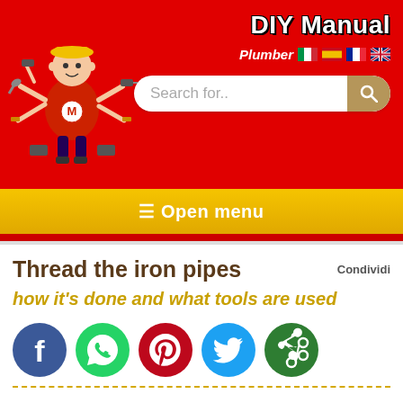DIY Manual - Plumber
[Figure (logo): DIY Manual plumber mascot: cartoon man in red outfit with hard hat holding various tools, with M logo circle]
Thread the iron pipes
how it's done and what tools are used
Condividi
[Figure (infographic): Social sharing icons row: Facebook (blue), WhatsApp (green), Pinterest (red), Twitter (blue), Share (green)]